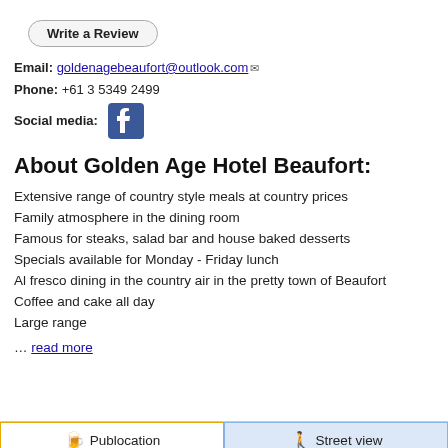Write a Review
Email: goldenagebeaufort@outlook.com
Phone: +61 3 5349 2499
Social media: [Facebook icon]
About Golden Age Hotel Beaufort:
Extensive range of country style meals at country prices
Family atmosphere in the dining room
Famous for steaks, salad bar and house baked desserts
Specials available for Monday - Friday lunch
Al fresco dining in the country air in the pretty town of Beaufort
Coffee and cake all day
Large range
… read more
Publocation   Street view